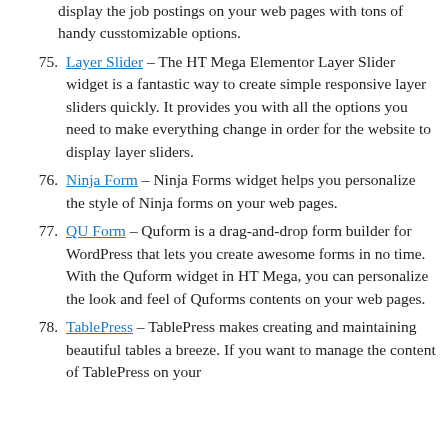(continued) display the job postings on your web pages with tons of handy cusstomizable options.
75. Layer Slider – The HT Mega Elementor Layer Slider widget is a fantastic way to create simple responsive layer sliders quickly. It provides you with all the options you need to make everything change in order for the website to display layer sliders.
76. Ninja Form – Ninja Forms widget helps you personalize the style of Ninja forms on your web pages.
77. QU Form – Quform is a drag-and-drop form builder for WordPress that lets you create awesome forms in no time. With the Quform widget in HT Mega, you can personalize the look and feel of Quforms contents on your web pages.
78. TablePress – TablePress makes creating and maintaining beautiful tables a breeze. If you want to manage the content of TablePress on your